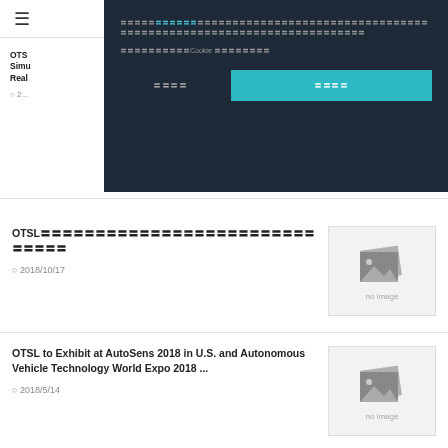≡
[Figure (screenshot): Cookie consent overlay with dark background (#1e2a38). Contains Japanese text with a teal-colored link, a sub-line mentioning 'Cookie', two buttons: a text 'decline' button and a teal 'accept' button.]
OTSL
Simu
Real
© 2...
OTSL〓〓〓〓〓〓〓〓〓〓〓〓〓〓〓〓〓〓〓〓〓〓
© 2018/10/17
[Figure (photo): No image placeholder with stacked photo icon frames and 'no image' text label]
OTSL to Exhibit at AutoSens 2018 in U.S. and Autonomous Vehicle Technology World Expo 2018 ...
© 2018/5/14
[Figure (photo): No image placeholder with stacked photo icon frames and 'no image' text label]